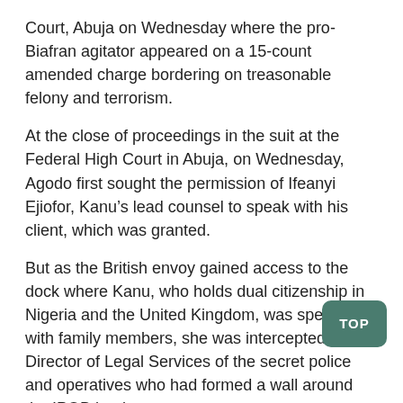Court, Abuja on Wednesday where the pro-Biafran agitator appeared on a 15-count amended charge bordering on treasonable felony and terrorism.
At the close of proceedings in the suit at the Federal High Court in Abuja, on Wednesday, Agodo first sought the permission of Ifeanyi Ejiofor, Kanu’s lead counsel to speak with his client, which was granted.
But as the British envoy gained access to the dock where Kanu, who holds dual citizenship in Nigeria and the United Kingdom, was speaking with family members, she was intercepted by the Director of Legal Services of the secret police and operatives who had formed a wall around the IPOB leader.
Thereafter, newsmen sought to speak with Agodo on what transpired, but she declined.
A political counsellor at the British High Commission, Jonathan, Bacon had written a letter dated January 11, 2022 and addressed to the trial judge, Nyako, where he sought